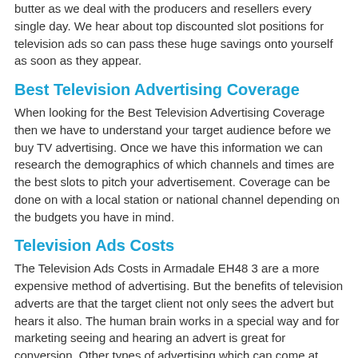butter as we deal with the producers and resellers every single day. We hear about top discounted slot positions for television ads so can pass these huge savings onto yourself as soon as they appear.
Best Television Advertising Coverage
When looking for the Best Television Advertising Coverage then we have to understand your target audience before we buy TV advertising. Once we have this information we can research the demographics of which channels and times are the best slots to pitch your advertisement. Coverage can be done on with a local station or national channel depending on the budgets you have in mind.
Television Ads Costs
The Television Ads Costs in Armadale EH48 3 are a more expensive method of advertising. But the benefits of television adverts are that the target client not only sees the advert but hears it also. The human brain works in a special way and for marketing seeing and hearing an advert is great for conversion. Other types of advertising which can come at different costs include newspaper and magazine press ads http://www.marketing-agencies.co.uk/ad-